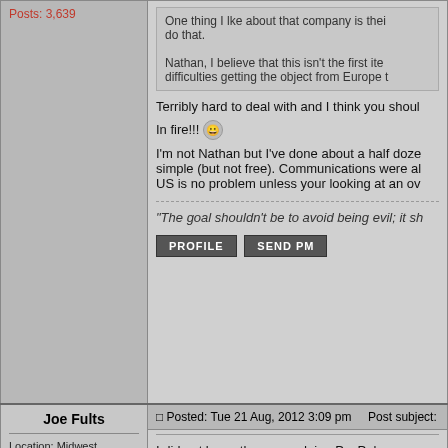Posts: 3,639
One thing I lke about that company is thei do that.
Nathan, I believe that this isn't the first ite difficulties getting the object from Europe t
Terribly hard to deal with and I think you shoul
In fire!!! 😀
I'm not Nathan but I've done about a half doze simple (but not free). Communications were al US is no problem unless your looking at an ov
"The goal shouldn't be to avoid being evil; it sh
PROFILE   SEND PM
Joe Fults
Posted: Tue 21 Aug, 2012 3:09 pm    Post subject:
Location: Midwest
Joined: 02 Sep 2003
Posts: 3,639
I did not know they were doing PayPal now...e
They will subcontract custom jobs as well...just